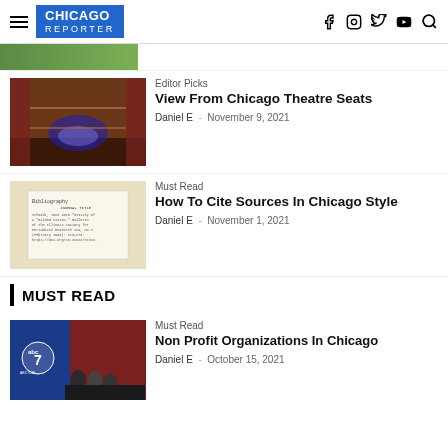CHICAGO REPORTER
[Figure (photo): Partial top strip of a previously scrolled article image (green/outdoor scene)]
Editor Picks
View From Chicago Theatre Seats
Daniel E  -  November 9, 2021
[Figure (photo): Interior of Chicago Theatre showing ornate balconies, red curtains, and stage lighting]
Must Read
How To Cite Sources In Chicago Style
Daniel E  -  November 1, 2021
[Figure (photo): Document showing a bibliography/citation list in Chicago style]
MUST READ
Must Read
Non Profit Organizations In Chicago
Daniel E  -  October 15, 2021
[Figure (photo): ABC 7 Chicago news studio with anchor and guests seated]